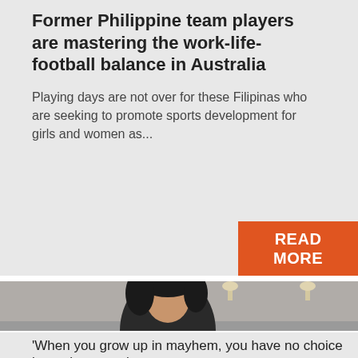Former Philippine team players are mastering the work-life-football balance in Australia
Playing days are not over for these Filipinas who are seeking to promote sports development for girls and women as...
[Figure (photo): Photo of a woman with dark hair, pearl earrings, against a grey background — cropped to show just the top of the head and shoulders]
'When you grow up in mayhem, you have no choice but to be strong'